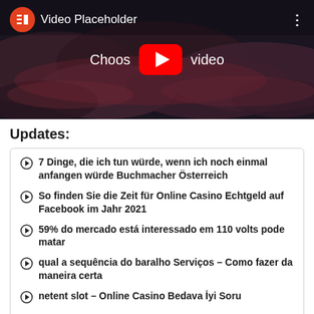[Figure (screenshot): Video Placeholder widget showing Elementor logo, 'Video Placeholder' title text, YouTube play button overlay with 'Choose video' text, dark stormy sky background]
Updates:
7 Dinge, die ich tun würde, wenn ich noch einmal anfangen würde Buchmacher Österreich
So finden Sie die Zeit für Online Casino Echtgeld auf Facebook im Jahr 2021
59% do mercado está interessado em 110 volts pode matar
qual a sequência do baralho Serviços – Como fazer da maneira certa
netent slot – Online Casino Bedava İyi Soru